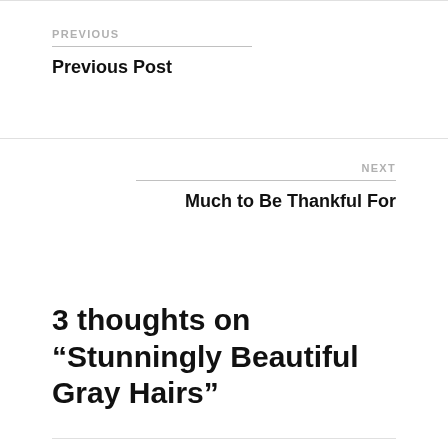PREVIOUS
Previous Post
NEXT
Much to Be Thankful For
3 thoughts on “Stunningly Beautiful Gray Hairs”
Melissa